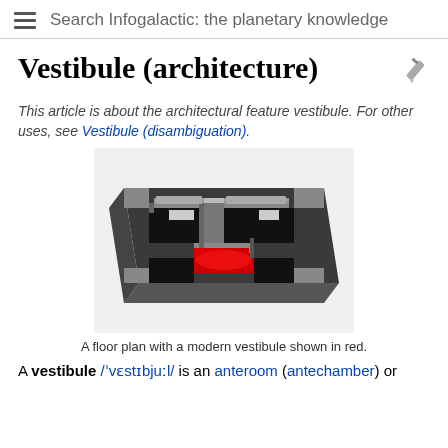Search Infogalactic: the planetary knowledge
Vestibule (architecture)
This article is about the architectural feature vestibule. For other uses, see Vestibule (disambiguation).
[Figure (illustration): A 3D floor plan rendering of a building layout with a modern vestibule highlighted in red, showing multiple rooms with dark floors and gray walls.]
A floor plan with a modern vestibule shown in red.
A vestibule /ˈvɛstɪbjuːl/ is an anteroom (antechamber) or